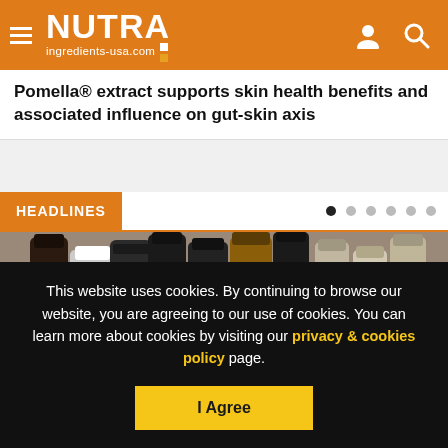NUTRA ingredients-usa.com
Pomella® extract supports skin health benefits and associated influence on gut-skin axis
HEADLINES
[Figure (photo): Photograph of multiple supplement bottles with dark and light caps arranged together]
This website uses cookies. By continuing to browse our website, you are agreeing to our use of cookies. You can learn more about cookies by visiting our privacy & cookies policy page.